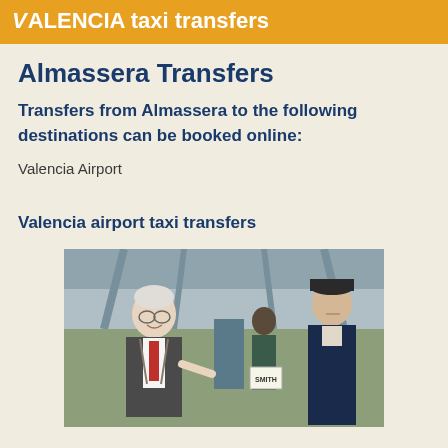VALENCIA taxi transfers
Almassera Transfers
Transfers from Almassera to the following destinations can be booked online:
Valencia Airport
Valencia airport taxi transfers
[Figure (photo): Photo of two men at an airport — an older gentleman in a suit smiling and pointing, and a man in a uniform/hat holding a sign reading SMITH, with an airport terminal interior visible in the background.]